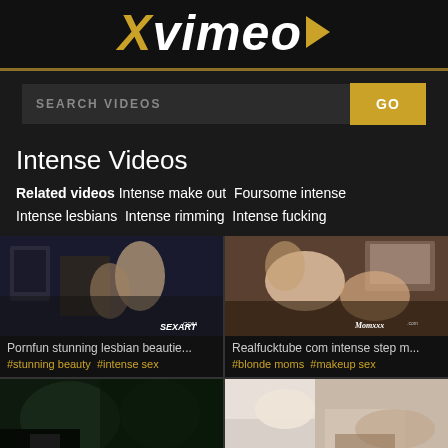XVIMEO
SEARCH VIDEOS  GO
Intense Videos
Related videos  Intense make out  Foursome intense  Intense lesbians  Intense rimming  Intense fucking
[Figure (photo): Video thumbnail - Pornfun stunning lesbian beautie...]
Pornfun stunning lesbian beautie...
#stunning beauty  #intense sex
[Figure (photo): Video thumbnail - Realfucktube com intense step m...]
Realfucktube com intense step m...
#blonde moms  #makeup sex
[Figure (photo): Video thumbnail - bottom left partial]
[Figure (photo): Video thumbnail - bottom right partial]